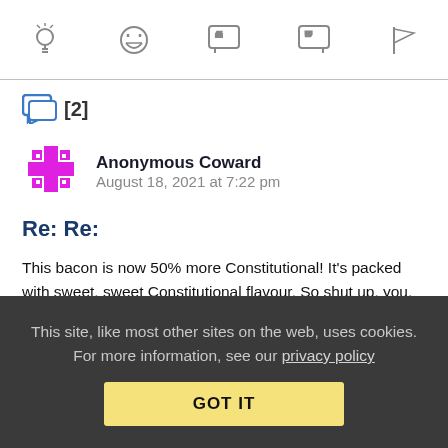[Figure (infographic): Top icon bar with five icons: lightbulb, laughing face, speech bubble with quote marks, speech bubble with close-quote, and flag]
[Figure (infographic): Blue chat icon with [2] label indicating 2 replies]
[Figure (infographic): Magenta/pink pixel-art snowflake avatar for Anonymous Coward]
Anonymous Coward   August 18, 2021 at 7:22 pm
Re: Re:
This bacon is now 50% more Constitutional! It's packed with sweet, sweet Constitutional flavour. So shut up, you. That's private talk for between a man and his property.
Reply | View in chronology
This site, like most other sites on the web, uses cookies. For more information, see our privacy policy
GOT IT